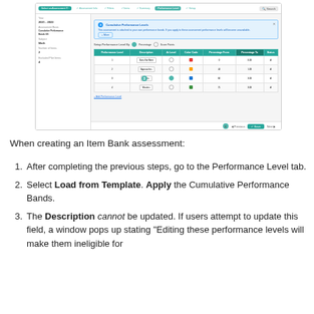[Figure (screenshot): Screenshot of an assessment creation interface showing the Performance Level tab with a data table for configuring performance levels including Description, At Level, Color Code, Percentage From/To fields, and action buttons. A blue informational alert is shown. Navigation tabs are visible at the top.]
When creating an Item Bank assessment:
After completing the previous steps, go to the Performance Level tab.
Select Load from Template. Apply the Cumulative Performance Bands.
The Description cannot be updated. If users attempt to update this field, a window pops up stating "Editing these performance levels will make them ineligible for